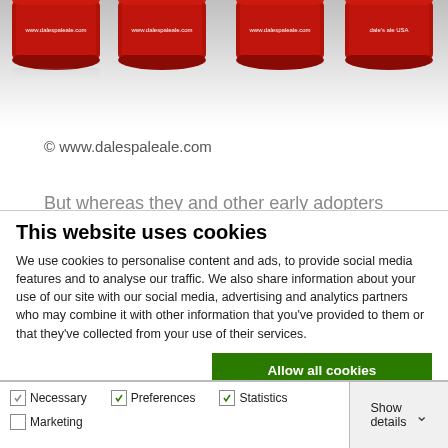[Figure (photo): Four red cans (Dale's Pale Ale) lined up in a row, showing the tops with website URL on each lid, reflected on a shiny surface. Image fades to white at the bottom.]
© www.dalespaleale.com
But whereas they and other early adopters
This website uses cookies
We use cookies to personalise content and ads, to provide social media features and to analyse our traffic. We also share information about your use of our site with our social media, advertising and analytics partners who may combine it with other information that you've provided to them or that they've collected from your use of their services.
Allow all cookies
Allow selection
Use necessary cookies only
Necessary  Preferences  Statistics  Marketing  Show details